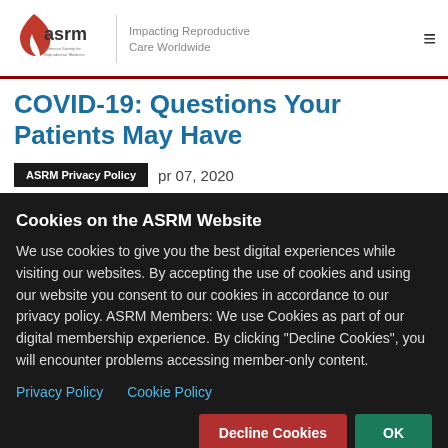[Figure (logo): ASRM logo with red flame/leaf icon, text 'asrm' and 'American Society for Reproductive Medicine', tagline 'Impacting Reproductive Care Worldwide']
COVID-19: Questions Your Patients May Have
Apr 07, 2020
Cookies on the ASRM Website
We use cookies to give you the best digital experiences while visiting our websites. By accepting the use of cookies and using our website you consent to our cookies in accordance to our privacy policy. ASRM Members: We use Cookies as part of our digital membership experience. By clicking "Decline Cookies", you will encounter problems accessing member-only content.
Privacy Policy   Cookie Policy
Decline Cookies   OK